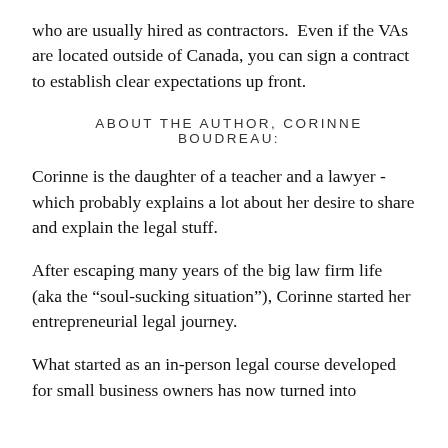who are usually hired as contractors.  Even if the VAs are located outside of Canada, you can sign a contract to establish clear expectations up front.
ABOUT THE AUTHOR, CORINNE BOUDREAU:
Corinne is the daughter of a teacher and a lawyer - which probably explains a lot about her desire to share and explain the legal stuff.
After escaping many years of the big law firm life (aka the "soul-sucking situation"), Corinne started her entrepreneurial legal journey.
What started as an in-person legal course developed for small business owners has now turned into